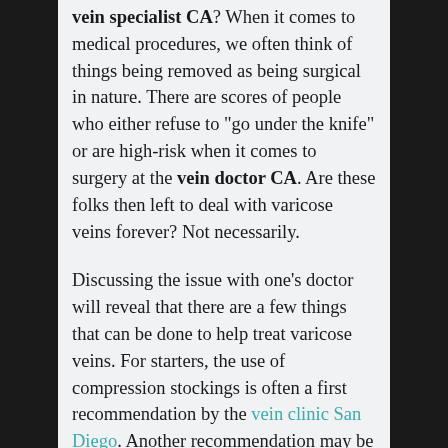vein specialist CA? When it comes to medical procedures, we often think of things being removed as being surgical in nature. There are scores of people who either refuse to "go under the knife" or are high-risk when it comes to surgery at the vein doctor CA. Are these folks then left to deal with varicose veins forever? Not necessarily.
Discussing the issue with one's doctor will reveal that there are a few things that can be done to help treat varicose veins. For starters, the use of compression stockings is often a first recommendation by the vein clinic San Diego. Another recommendation may be a lifestyle change to keep from sitting or standing for too long. One of the